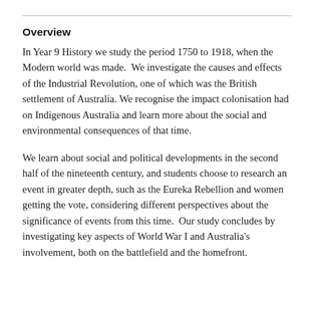Overview
In Year 9 History we study the period 1750 to 1918, when the Modern world was made.  We investigate the causes and effects of the Industrial Revolution, one of which was the British settlement of Australia. We recognise the impact colonisation had on Indigenous Australia and learn more about the social and environmental consequences of that time.
We learn about social and political developments in the second half of the nineteenth century, and students choose to research an event in greater depth, such as the Eureka Rebellion and women getting the vote, considering different perspectives about the significance of events from this time.  Our study concludes by investigating key aspects of World War I and Australia's involvement, both on the battlefield and the homefront.